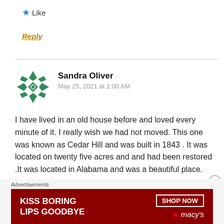Like
Reply
Sandra Oliver
May 25, 2021 at 1:00 AM
I have lived in an old house before and loved every minute of it. I really wish we had not moved. This one was known as Cedar Hill and was built in 1843 . It was located on twenty five acres and and had been restored .It was located in Alabama and was a beautiful place.
[Figure (infographic): Macy's advertisement banner: KISS BORING LIPS GOODBYE with SHOP NOW button and Macy's logo]